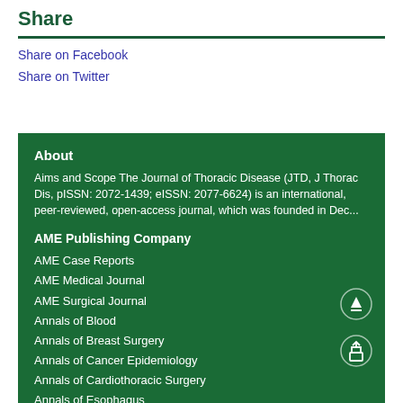Share
Share on Facebook
Share on Twitter
About
Aims and Scope The Journal of Thoracic Disease (JTD, J Thorac Dis, pISSN: 2072-1439; eISSN: 2077-6624) is an international, peer-reviewed, open-access journal, which was founded in Dec...
AME Publishing Company
AME Case Reports
AME Medical Journal
AME Surgical Journal
Annals of Blood
Annals of Breast Surgery
Annals of Cancer Epidemiology
Annals of Cardiothoracic Surgery
Annals of Esophagus
Annals of Eye Science
Annals of Infection